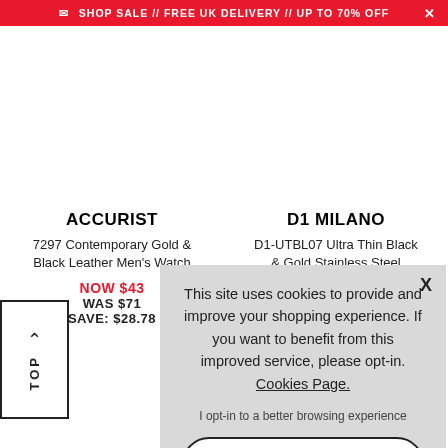SHOP SALE // FREE UK DELIVERY // UP TO 70% OFF
ACCURIST
7297 Contemporary Gold & Black Leather Men's Watch
NOW $43
WAS $71
SAVE: $28.78
D1 MILANO
D1-UTBL07 Ultra Thin Black & Gold Stainless Steel Ladies Watch
This site uses cookies to provide and improve your shopping experience. If you want to benefit from this improved service, please opt-in. Cookies Page.
I opt-in to a better browsing experience
ACCEPT COOKIES